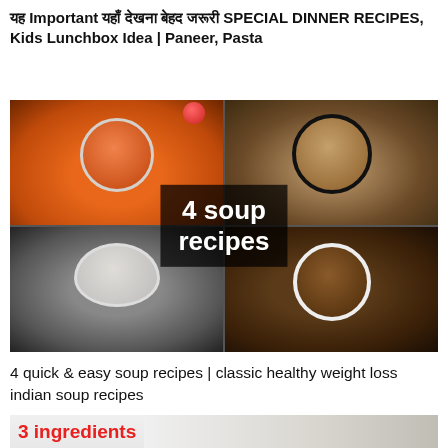यह Important यहाँ देखना बेहद जरूरी SPECIAL DINNER RECIPES, Kids Lunchbox Idea | Paneer, Pasta
[Figure (photo): A 2x2 grid of soup photos: top-left tomato soup in white bowl, top-right noodle vegetable soup in black-rimmed bowl, bottom-left mushroom cream soup in white cup, bottom-right hot and sour soup in white bowl. Center overlay text reads '4 soup recipes' in white bold on dark background.]
4 quick & easy soup recipes | classic healthy weight loss indian soup recipes
3 ingredients